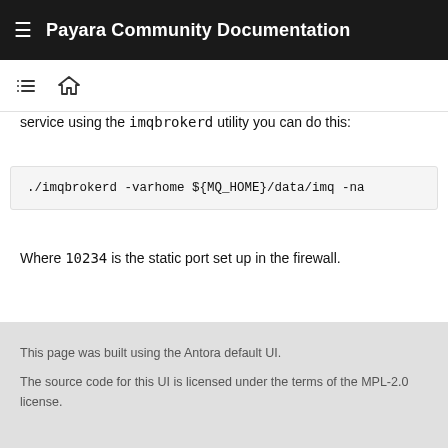Payara Community Documentation
service using the imqbrokerd utility you can do this:
./imqbrokerd -varhome ${MQ_HOME}/data/imq -na
Where 10234 is the static port set up in the firewall.
This page was built using the Antora default UI.
The source code for this UI is licensed under the terms of the MPL-2.0 license.